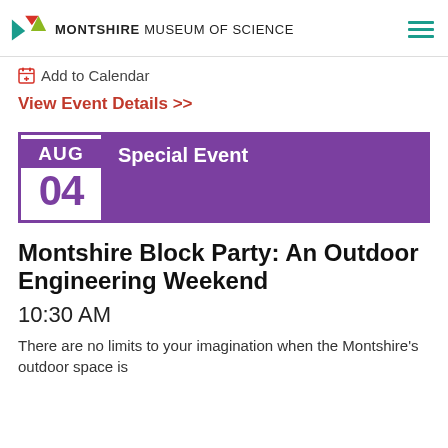MONTSHIRE MUSEUM OF SCIENCE
Add to Calendar
View Event Details >>
[Figure (infographic): Calendar date block showing AUG 04 with purple border and Special Event label in purple background]
Montshire Block Party: An Outdoor Engineering Weekend
10:30 AM
There are no limits to your imagination when the Montshire's outdoor space is